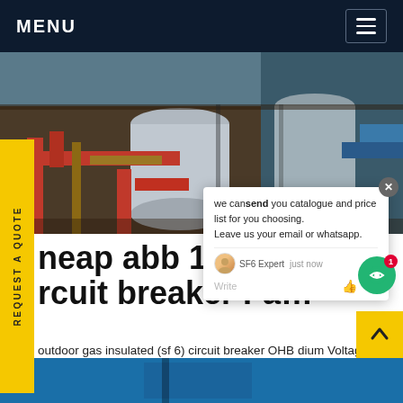MENU
[Figure (photo): Industrial equipment photo showing pipes, tanks, and structural steelwork with red and copper-colored pipes in a factory or power plant setting]
REQUEST A QUOTE
cheap abb 132 kv circuit breaker Fa…
outdoor gas insulated (sf 6) circuit breaker OHB dium Voltage circuit breaker with mechanical erating mechanism designed for distribution systems up to 40.5 kV, 2500 A, 31.5 kA. These circuit breakers are of live tank design.Get price
[Figure (screenshot): Chat popup widget showing message: we can send you catalogue and price list for you choosing. Leave us your email or whatsapp. SF6 Expert just now]
[Figure (photo): Bottom blue stripe with industrial equipment partial view]